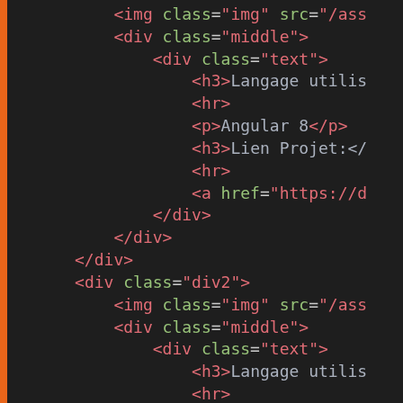[Figure (screenshot): Code editor screenshot showing HTML source code with syntax highlighting on dark background. Left orange vertical bar. Code shows HTML structure with img, div, h3, hr, p, a elements with class and href attributes.]